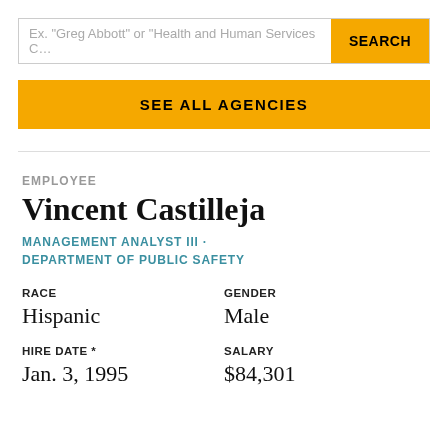[Figure (screenshot): Search bar with placeholder text 'Ex. "Greg Abbott" or "Health and Human Services C…' and a yellow SEARCH button]
SEE ALL AGENCIES
EMPLOYEE
Vincent Castilleja
MANAGEMENT ANALYST III · DEPARTMENT OF PUBLIC SAFETY
| RACE | GENDER |
| --- | --- |
| Hispanic | Male |
| HIRE DATE * | SALARY |
| --- | --- |
| Jan. 3, 1995 | $84,301 |